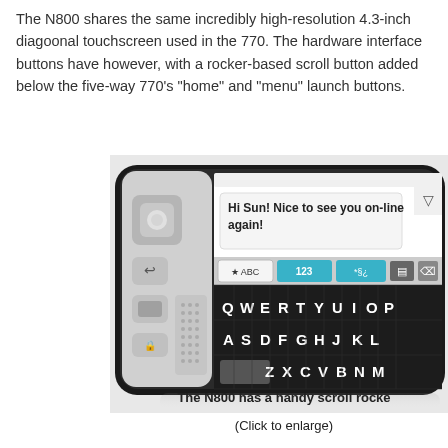The N800 shares the same incredibly high-resolution 4.3-inch diagonal touchscreen used in the 770. The hardware interface buttons have changed, however, with a rocker-based scroll button added below the five-way and the 770's “home” and “menu” launch buttons.
[Figure (photo): Photo of the Nokia N800 internet tablet shown in landscape orientation with keyboard visible. The screen displays a chat message 'Hi Sun! Nice to see you on-line again!' and the on-screen QWERTY keyboard is shown below. The device is dark/black with silver trim.]
The N800 has a handy scroll rocke...
(Click to enlarge)